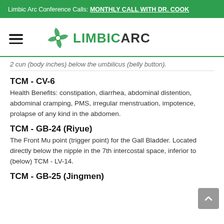Limbic Arc Conference Calls: MONTHLY CALL WITH DR. COOK
[Figure (logo): Limbic Arc logo with green pinwheel/flower icon and text LIMBIC ARC]
2 cun (body inches) below the umbilicus (belly button).
TCM - CV-6
Health Benefits: constipation, diarrhea, abdominal distention, abdominal cramping, PMS, irregular menstruation, impotence, prolapse of any kind in the abdomen.
TCM - GB-24 (Riyue)
The Front Mu point (trigger point) for the Gall Bladder. Located directly below the nipple in the 7th intercostal space, inferior to (below) TCM - LV-14.
TCM - GB-25 (Jingmen)